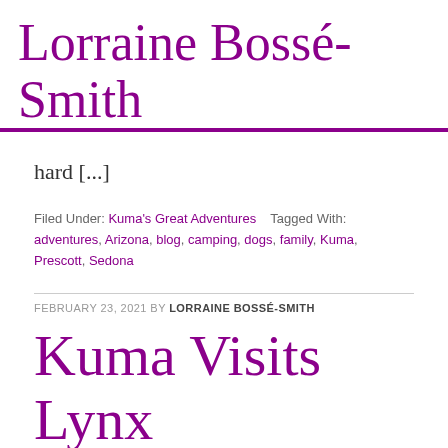Lorraine Bossé-Smith
hard [...]
Filed Under: Kuma's Great Adventures   Tagged With: adventures, Arizona, blog, camping, dogs, family, Kuma, Prescott, Sedona
FEBRUARY 23, 2021 BY LORRAINE BOSSÉ-SMITH
Kuma Visits Lynx Creek Ruins in Prescott